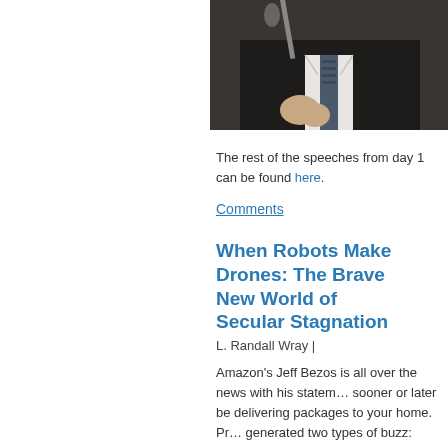[Figure (photo): Partial photo of a man in a suit and tie at a microphone, cropped at the top of the page]
The rest of the speeches from day 1 can be found here.
Comments
When Robots Make Drones: The Brave New World of Secular Stagnation
L. Randall Wray |
Amazon's Jeff Bezos is all over the news with his statement that drones will sooner or later be delivering packages to your home. Predictably, this has generated two types of buzz: what about the inevitable robot uprisings, and the poor displaced UPS workers?
For me, the first is a wee bit scary. Of course, you now have to worry about being run over by a UPS driver whose workload has already been doubled to the point that he doesn't have the time to drive carefully. With the drones, you'd also have to constantly scan the sky for incoming errant flying packages falling to earth. I suppose the drones are scarier than the trucks.